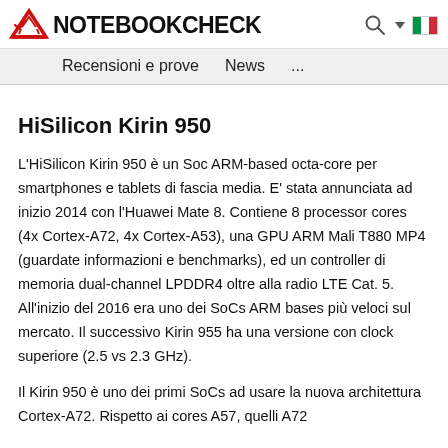NOTEBOOKCHECK — Recensioni e prove   News   ...
HiSilicon Kirin 950
L'HiSilicon Kirin 950 è un Soc ARM-based octa-core per smartphones e tablets di fascia media. E' stata annunciata ad inizio 2014 con l'Huawei Mate 8. Contiene 8 processor cores (4x Cortex-A72, 4x Cortex-A53), una GPU ARM Mali T880 MP4 (guardate informazioni e benchmarks), ed un controller di memoria dual-channel LPDDR4 oltre alla radio LTE Cat. 5. All'inizio del 2016 era uno dei SoCs ARM bases più veloci sul mercato. Il successivo Kirin 955 ha una versione con clock superiore (2.5 vs 2.3 GHz).
Il Kirin 950 è uno dei primi SoCs ad usare la nuova architettura Cortex-A72. Rispetto ai cores A57, quelli A72